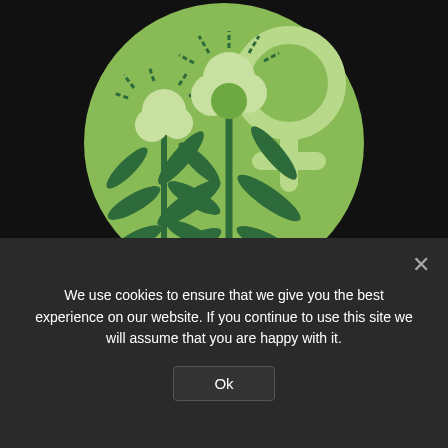[Figure (illustration): Circular green illustration showing cannabis/hemp plants with bulbous flower tops and a female (Venus) symbol on the right side, against a light green background circle. Dark green plant silhouettes with lighter green buds radiating dashed lines at top.]
Worldwide sales of feminized seeds, like Gorgonzola Feminized, have been increasing each year at a
We use cookies to ensure that we give you the best experience on our website. If you continue to use this site we will assume that you are happy with it.